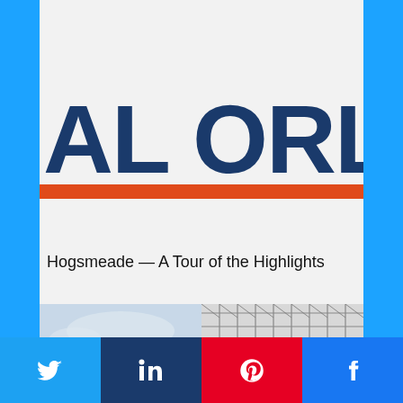[Figure (logo): Partial logo showing 'AL ORLAN' in large dark blue bold text with an orange/red underline bar, on a light gray background.]
Hogsmeade — A Tour of the Highlights
[Figure (photo): Two partially visible photos side by side: left shows a sky and building with a red circular element; right shows scaffolding or a metal grid structure in black and white.]
Twitter | LinkedIn | Pinterest | Facebook social share buttons